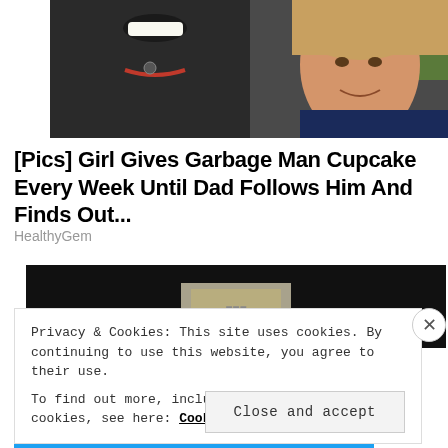[Figure (photo): Photo of a man smiling broadly with a young girl beside him, both looking at the camera]
[Pics] Girl Gives Garbage Man Cupcake Every Week Until Dad Follows Him And Finds Out...
HealthyGem
[Figure (photo): Partially visible second photo with dark background showing what appears to be paper currency]
Privacy & Cookies: This site uses cookies. By continuing to use this website, you agree to their use.
To find out more, including how to control cookies, see here: Cookie Policy
Close and accept